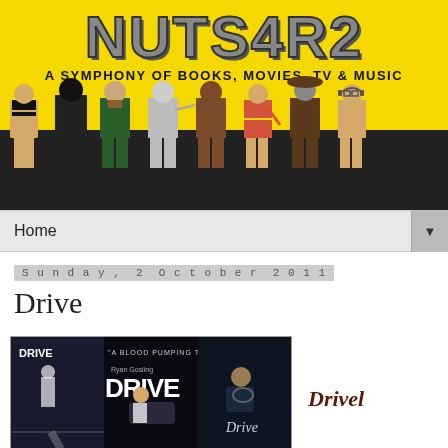[Figure (illustration): NUTS4R2 blog banner with yellow background, large stylized text 'NUTS4R2', subtitle 'A SYMPHONY OF BOOKS, MOVIES, TV & MUSIC', and a row of LEGO-style movie character figures at the bottom.]
Home ▼
Sunday, 2 October 2011
Drive
[Figure (photo): Collage of three Drive movie posters/images showing Ryan Gosling]
Drivel